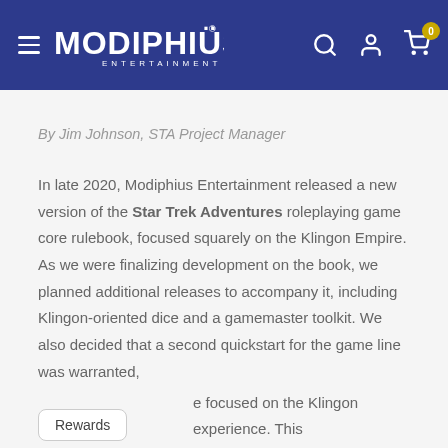Modiphius Entertainment
By Jim Johnson, STA Project Manager
In late 2020, Modiphius Entertainment released a new version of the Star Trek Adventures roleplaying game core rulebook, focused squarely on the Klingon Empire. As we were finalizing development on the book, we planned additional releases to accompany it, including Klingon-oriented dice and a gamemaster toolkit. We also decided that a second quickstart for the game line was warranted, [one focused on the Klingon experience. This